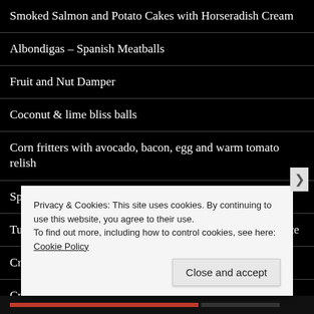Smoked Salmon and Potato Cakes with Horseradish Cream
Albondigas – Spanish Meatballs
Fruit and Nut Damper
Coconut & lime bliss balls
Corn fritters with avocado, bacon, egg and warm tomato relish
Spicy Herb Olives
Turkey Balls with Camembert & Cranberry Red Wine Sauce
Crumbed Calamari
Crocodile Burgers
Privacy & Cookies: This site uses cookies. By continuing to use this website, you agree to their use.
To find out more, including how to control cookies, see here: Cookie Policy